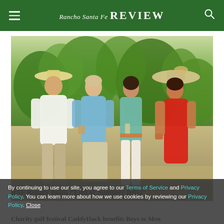Rancho Santa Fe Review
[Figure (photo): Four people posing outdoors at a summer BBQ event. Left: man in white shirt and wide-brim straw hat. Second: older woman in light blue embroidered top. Third: younger woman in teal top. Right: woman in red sleeveless dress wearing a large decorative hat. Background shows trees and garden.]
RSF Rotary holds “End of Summer BBQ”
By continuing to use our site, you agree to our Terms of Service and Privacy Policy. You can learn more about how we use cookies by reviewing our Privacy Policy. Close
Charity golf festival CaddyHack benefits Boys to Men